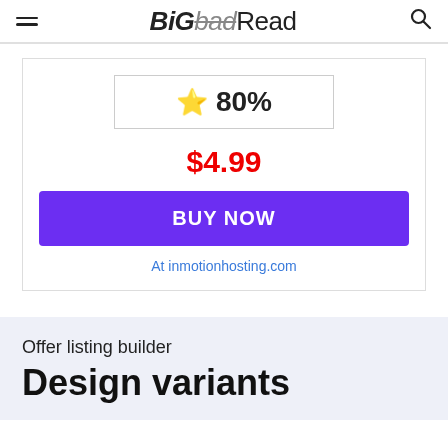BiGbadRead
⭐ 80%
$4.99
BUY NOW
At inmotionhosting.com
Offer listing builder
Design variants